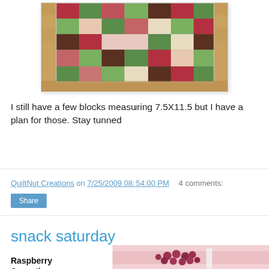[Figure (photo): A colorful patchwork quilt with red, green, and cream fabrics laid on a wooden floor, viewed from above at an angle.]
I still have a few blocks measuring 7.5X11.5 but I have a plan for those. Stay tunned
QuiltNut Creations on 7/25/2009 08:54:00 PM   4 comments:
Share
snack saturday
Raspberry Sensation
[Figure (photo): A photo of raspberries and what appears to be a pink/raspberry-colored food item on a plate.]